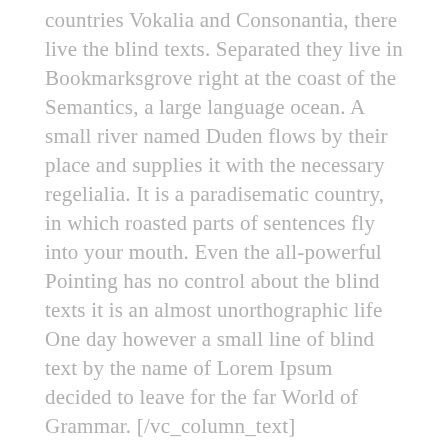countries Vokalia and Consonantia, there live the blind texts. Separated they live in Bookmarksgrove right at the coast of the Semantics, a large language ocean. A small river named Duden flows by their place and supplies it with the necessary regelialia. It is a paradisematic country, in which roasted parts of sentences fly into your mouth. Even the all-powerful Pointing has no control about the blind texts it is an almost unorthographic life One day however a small line of blind text by the name of Lorem Ipsum decided to leave for the far World of Grammar. [/vc_column_text][vc_separator type="transparent" position="center" up="2'' down="0"]